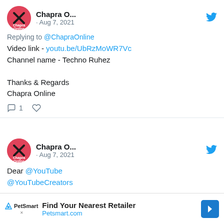[Figure (screenshot): Screenshot of a Twitter/social media feed showing two tweet cards from Chapra Online account dated Aug 7, 2021, and a PetSmart advertisement banner at the bottom.]
Chapra O... · Aug 7, 2021
Replying to @ChapraOnline
Video link - youtu.be/UbRzMoWR7Vc
Channel name - Techno Ruhez

Thanks & Regards
Chapra Online
[reply icon] 1 [heart icon]
Chapra O... · Aug 7, 2021
Dear @YouTube
@YouTubeCreators
Find Your Nearest Retailer
Petsmart.com